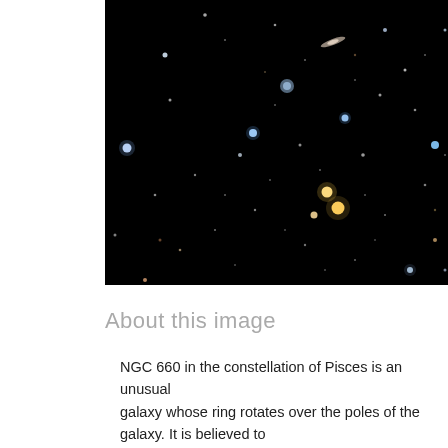[Figure (photo): Deep space astrophotograph showing a star field against a black background with various stars and galaxies visible, including what appears to be NGC 660 galaxy. Multiple bright stars and faint objects are visible throughout the image.]
About this image
NGC 660 in the constellation of Pisces is an unusual galaxy whose ring rotates over the poles of the galaxy. It is believed to have formed billions of years ago or from the capture of material from a passing galaxy. This is a distant galaxy I have tried to image and my most challenging yet, using my 8" SCT, from my garden.